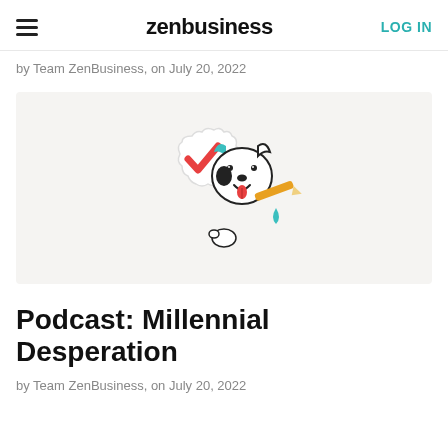zenbusiness  LOG IN
by Team ZenBusiness, on July 20, 2022
[Figure (illustration): ZenBusiness mascot dog illustration holding a pencil with a red checkmark badge, on a light beige background]
Podcast: Millennial Desperation
by Team ZenBusiness, on July 20, 2022